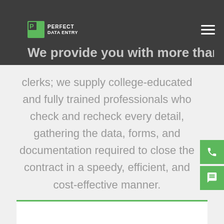Perfect Data Entry
We provide you with more than just clerks; we supply college-educated and fully trained professionals who check and recheck every detail, gathering the data, forms, and documentation required to close the contract in a speedy, efficient, and cost-effective manner.
[Figure (other): White content box with green top border at bottom of page]